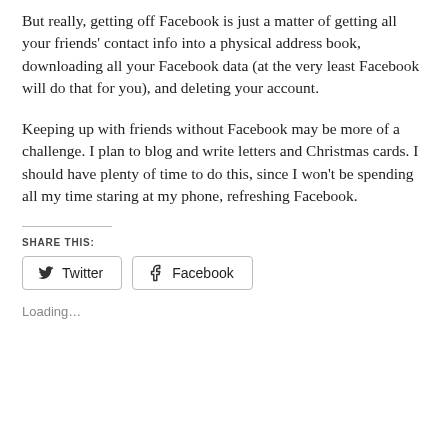But really, getting off Facebook is just a matter of getting all your friends' contact info into a physical address book, downloading all your Facebook data (at the very least Facebook will do that for you), and deleting your account.
Keeping up with friends without Facebook may be more of a challenge. I plan to blog and write letters and Christmas cards. I should have plenty of time to do this, since I won't be spending all my time staring at my phone, refreshing Facebook.
SHARE THIS:
Twitter  Facebook
Loading...